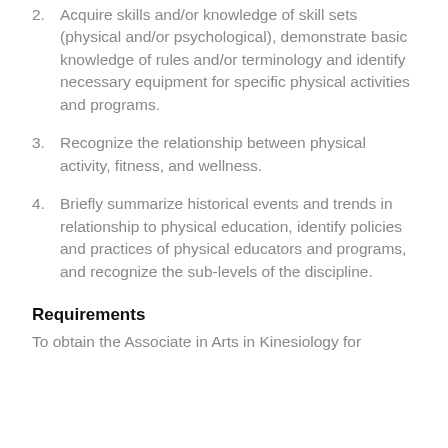2. Acquire skills and/or knowledge of skill sets (physical and/or psychological), demonstrate basic knowledge of rules and/or terminology and identify necessary equipment for specific physical activities and programs.
3. Recognize the relationship between physical activity, fitness, and wellness.
4. Briefly summarize historical events and trends in relationship to physical education, identify policies and practices of physical educators and programs, and recognize the sub-levels of the discipline.
Requirements
To obtain the Associate in Arts in Kinesiology for